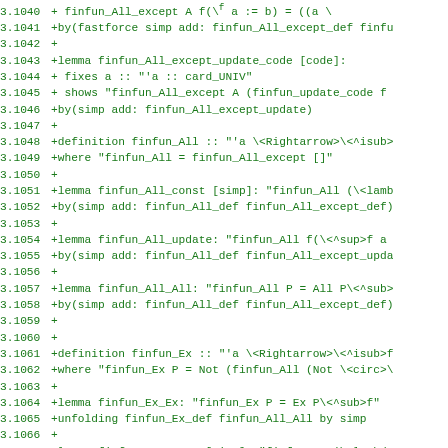Source code diff showing Isabelle/HOL formal proof definitions for finfun_All and finfun_Ex functions, lines 3.1040-3.1072